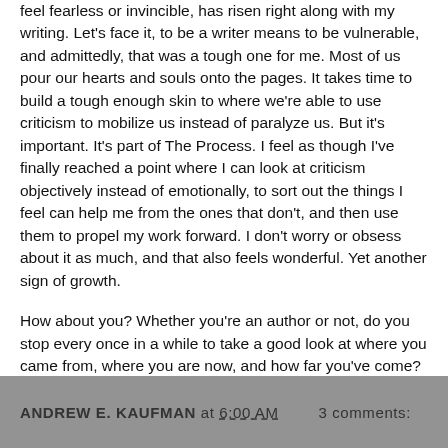feel fearless or invincible, has risen right along with my writing. Let's face it, to be a writer means to be vulnerable, and admittedly, that was a tough one for me. Most of us pour our hearts and souls onto the pages. It takes time to build a tough enough skin to where we're able to use criticism to mobilize us instead of paralyze us. But it's important. It's part of The Process. I feel as though I've finally reached a point where I can look at criticism objectively instead of emotionally, to sort out the things I feel can help me from the ones that don't, and then use them to propel my work forward. I don't worry or obsess about it as much, and that also feels wonderful. Yet another sign of growth.
How about you? Whether you're an author or not, do you stop every once in a while to take a good look at where you came from, where you are now, and how far you've come? If you do, what do you see?
ANDREW E. KAUFMAN at 6:00 AM    3 comments: